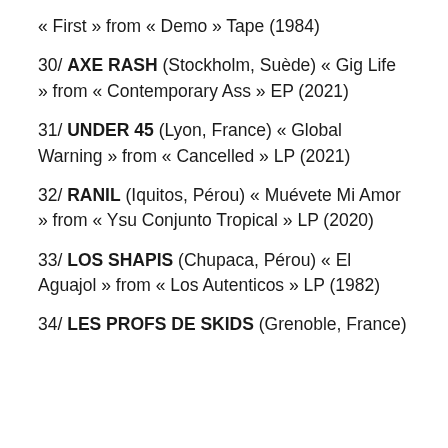« First » from « Demo » Tape (1984)
30/ AXE RASH (Stockholm, Suède) « Gig Life » from « Contemporary Ass » EP (2021)
31/ UNDER 45 (Lyon, France) « Global Warning » from « Cancelled » LP (2021)
32/ RANIL (Iquitos, Pérou) « Muévete Mi Amor » from « Ysu Conjunto Tropical » LP (2020)
33/ LOS SHAPIS (Chupaca, Pérou) « El Aguajol » from « Los Autenticos » LP (1982)
34/ LES PROFS DE SKIDS (Grenoble, France)